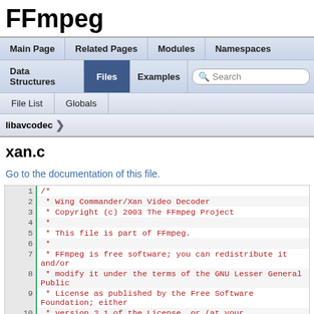FFmpeg
xan.c
Go to the documentation of this file.
[Figure (screenshot): FFmpeg documentation site navigation bar with Main Page, Related Pages, Modules, Namespaces, Data Structures, Files (active), Examples tabs and a search box. Breadcrumb shows libavcodec.]
1  /*
2   * Wing Commander/Xan Video Decoder
3   * Copyright (c) 2003 The FFmpeg Project
4   *
5   * This file is part of FFmpeg.
6   *
7   * FFmpeg is free software; you can redistribute it and/or
8   * modify it under the terms of the GNU Lesser General Public
9   * License as published by the Free Software Foundation; either
10  * version 2.1 of the License, or (at your